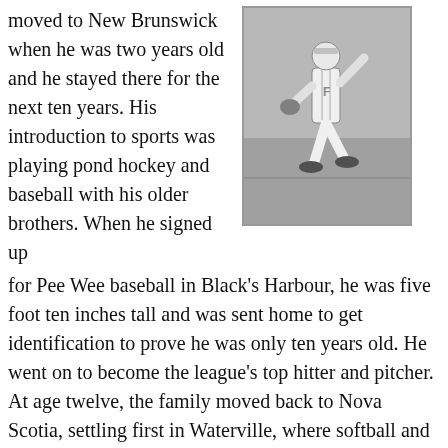moved to New Brunswick when he was two years old and he stayed there for the next ten years. His introduction to sports was playing pond hockey and baseball with his older brothers. When he signed up for Pee Wee baseball in Black's Harbour, he was five foot ten inches tall and was sent home to get identification to prove he was only ten years old. He went on to become the league's top hitter and pitcher. At age twelve, the family moved back to Nova Scotia, settling first in Waterville, where softball and hockey were very popular at the time. With the coming of artificial ice in Berwick, a Boy Scout Hockey League was formed and the Waterville Scouts, led by Rod, won the league championship
[Figure (photo): Black and white photo of a baseball player in uniform pitching or fielding on a baseball field.]